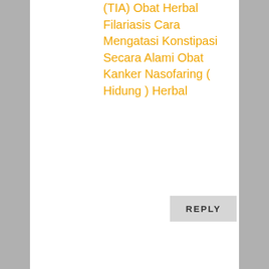(TIA) Obat Herbal Filariasis Cara Mengatasi Konstipasi Secara Alami Obat Kanker Nasofaring ( Hidung ) Herbal
REPLY
Tâm Nguyễn Linh on June 25, 2015 at 8:12 am
Cách làm trắng da hỗ trợ điều trị viêm gan b đối với bây giờ viêm gan c rất nguy hiểmUng thư gan keo ong chất lượngkeo